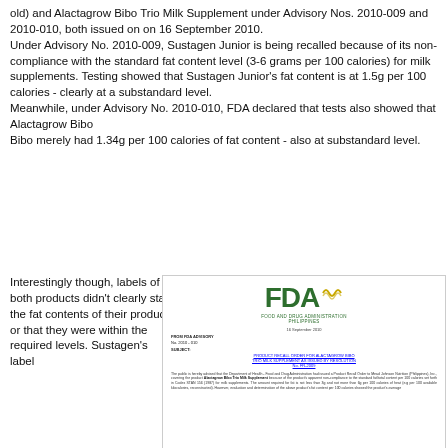old) and Alactagrow Bibo Trio Milk Supplement under Advisory Nos. 2010-009 and 2010-010, both issued on on 16 September 2010.
Under Advisory No. 2010-009, Sustagen Junior is being recalled because of its non-compliance with the standard fat content level (3-6 grams per 100 calories) for milk supplements. Testing showed that Sustagen Junior's fat content is at 1.5g per 100 calories - clearly at a substandard level.
Meanwhile, under Advisory No. 2010-010, FDA declared that tests also showed that Alactagrow Bibo merely had 1.34g per 100 calories of fat content - also at substandard level.
Interestingly though, labels of both products didn't clearly state the fat contents of their products or that they were within the required levels. Sustagen's label
[Figure (screenshot): FDA Philippines advisory document No. 2010-010 regarding product recall order for Alactagrow Bibo Trio Milk Supplement, showing the FDA logo, date 16 September 2010, subject line, and body text.]